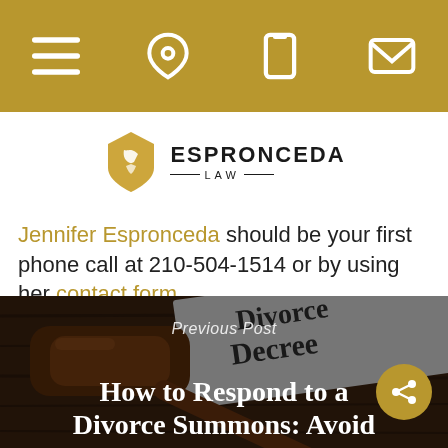Navigation bar with menu, location, phone, and email icons
[Figure (logo): Espronceda Law logo with decorative shield emblem and firm name]
Jennifer Espronceda should be your first phone call at 210-504-1514 or by using her contact form.
[Figure (photo): Photo of a wooden gavel resting on a Divorce Decree document on a wooden surface, with overlay text 'Previous Post' and title 'How to Respond to a Divorce Summons: Avoid']